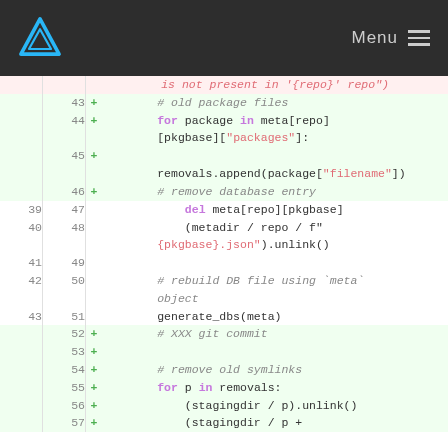Menu
[Figure (screenshot): Code diff showing Python script additions and context lines. Lines 43-57 shown with line numbers, diff markers (+), and syntax highlighting. Added lines have green background. Code involves package removal logic, metadata operations, git commit, symlink removal.]